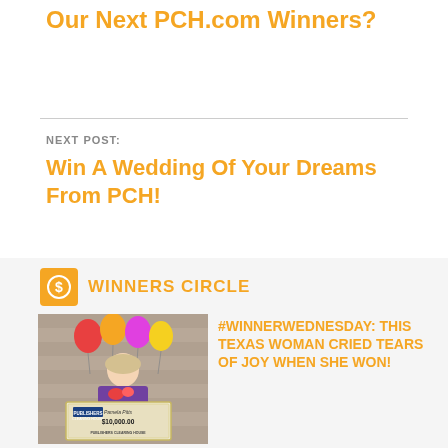Our Next PCH.com Winners?
NEXT POST:
Win A Wedding Of Your Dreams From PCH!
WINNERS CIRCLE
[Figure (photo): A smiling woman holding colorful balloons and a Publishers Clearing House check made out to Pamela Pitts for $10,000.00]
#WINNERWEDNESDAY: THIS TEXAS WOMAN CRIED TEARS OF JOY WHEN SHE WON!